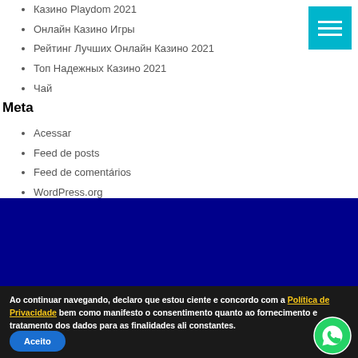Казино Playdom 2021
Онлайн Казино Игры
Рейтинг Лучших Онлайн Казино 2021
Топ Надежных Казино 2021
Чай
Meta
Acessar
Feed de posts
Feed de comentários
WordPress.org
[Figure (other): Dark blue banner/advertisement band]
Ao continuar navegando, declaro que estou ciente e concordo com a Política de Privacidade bem como manifesto o consentimento quanto ao fornecimento e tratamento dos dados para as finalidades ali constantes.